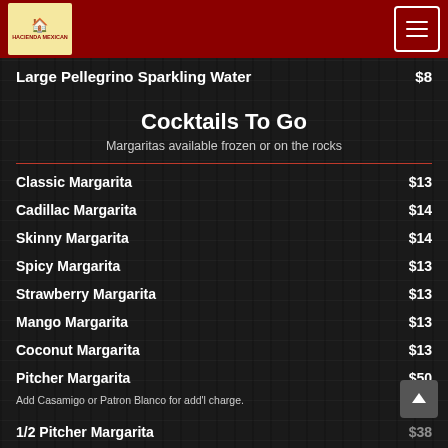Hacienda Mexican Restaurant — navigation header
Large Pellegrino Sparkling Water   $8
Cocktails To Go
Margaritas available frozen or on the rocks
Classic Margarita   $13
Cadillac Margarita   $14
Skinny Margarita   $14
Spicy Margarita   $13
Strawberry Margarita   $13
Mango Margarita   $13
Coconut Margarita   $13
Pitcher Margarita   $50
Add Casamigo or Patron Blanco for add'l charge.
1/2 Pitcher Margarita   $38